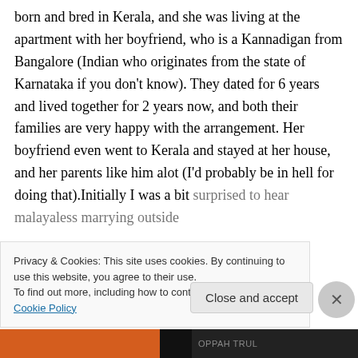born and bred in Kerala, and she was living at the apartment with her boyfriend, who is a Kannadigan from Bangalore (Indian who originates from the state of Karnataka if you don't know). They dated for 6 years and lived together for 2 years now, and both their families are very happy with the arrangement. Her boyfriend even went to Kerala and stayed at her house, and her parents like him alot (I'd probably be in hell for doing that).Initially I was a bit surprised to hear malayaless marrying outside
Privacy & Cookies: This site uses cookies. By continuing to use this website, you agree to their use.
To find out more, including how to control cookies, see here: Cookie Policy
Close and accept